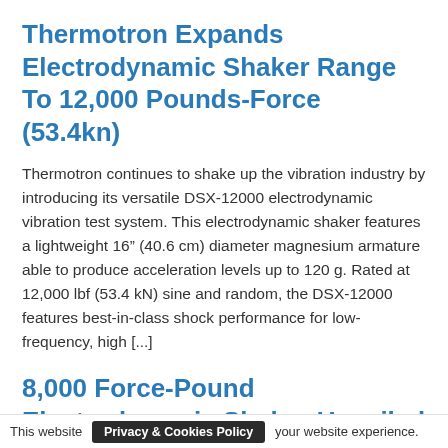Thermotron Expands Electrodynamic Shaker Range To 12,000 Pounds-Force (53.4kn)
Thermotron continues to shake up the vibration industry by introducing its versatile DSX-12000 electrodynamic vibration test system. This electrodynamic shaker features a lightweight 16” (40.6 cm) diameter magnesium armature able to produce acceleration levels up to 120 g. Rated at 12,000 lbf (53.4 kN) sine and random, the DSX-12000 features best-in-class shock performance for low-frequency, high [...]
8,000 Force-Pound Electrodynamic Shaker Unveiled
Once again, Thermotron is shaking up the vibration industry...
This website  Privacy & Cookies Policy  your website experience.